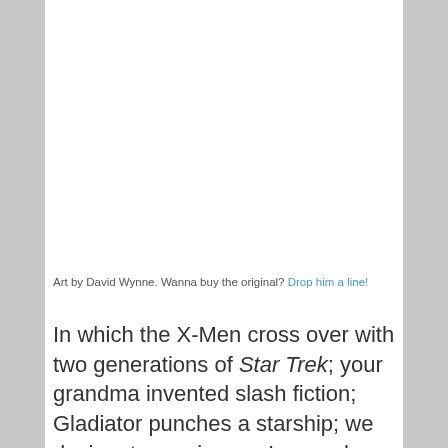[Figure (illustration): Artwork by David Wynne — upper portion of the page, blank white space representing the image area]
Art by David Wynne. Wanna buy the original? Drop him a line!
In which the X-Men cross over with two generations of Star Trek; your grandma invented slash fiction; Gladiator punches a starship; we designate a universe; Leonard McCoy gets bowdlerized; “Gary” is a silly name for a god;